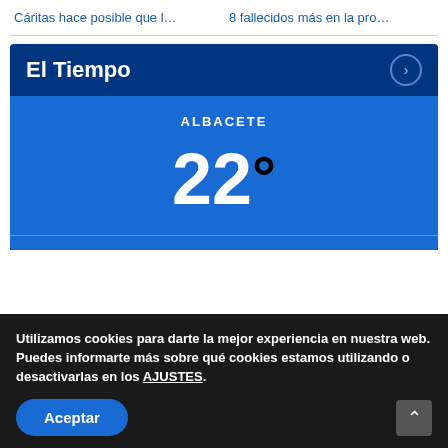Cáritas hace posible que l…   8 fallecidos más en la pro…
El Tiempo
[Figure (infographic): Weather widget showing ALBACETE city with temperature 22 degrees on a blue background]
Utilizamos cookies para darte la mejor experiencia en nuestra web.
Puedes informarte más sobre qué cookies estamos utilizando o desactivarlas en los AJUSTES.
Aceptar